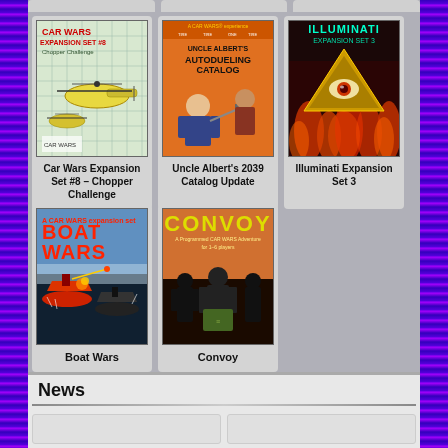[Figure (illustration): Car Wars Expansion Set #8 - Chopper Challenge game box cover showing helicopters]
Car Wars Expansion Set #8 – Chopper Challenge
[Figure (illustration): Uncle Albert's 2039 Catalog Update game box cover on orange background]
Uncle Albert's 2039 Catalog Update
[Figure (illustration): Illuminati Expansion Set 3 box cover with pyramid and eye on fire background]
Illuminati Expansion Set 3
[Figure (illustration): Boat Wars game box cover showing boats in combat]
Boat Wars
[Figure (illustration): Convoy game box cover in dark orange/black tones]
Convoy
News